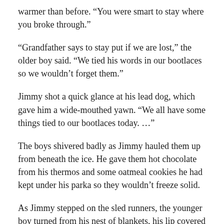warmer than before. “You were smart to stay where you broke through.”
“Grandfather says to stay put if we are lost,” the older boy said. “We tied his words in our bootlaces so we wouldn’t forget them.”
Jimmy shot a quick glance at his lead dog, which gave him a wide-mouthed yawn. “We all have some things tied to our bootlaces today. …”
The boys shivered badly as Jimmy hauled them up from beneath the ice. He gave them hot chocolate from his thermos and some oatmeal cookies he had kept under his parka so they wouldn’t freeze solid.
As Jimmy stepped on the sled runners, the younger boy turned from his nest of blankets, his lip covered in a frothy, hot-chocolate mustache. “Can we go home, Runny Nose?”